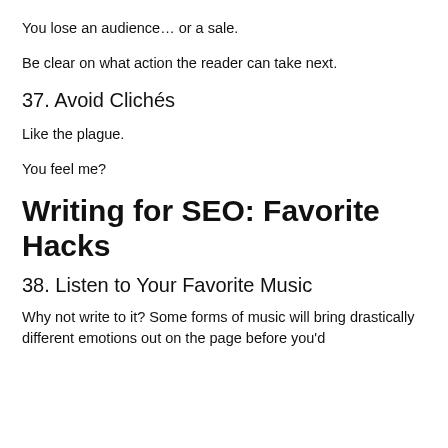You lose an audience… or a sale.
Be clear on what action the reader can take next.
37. Avoid Clichés
Like the plague.
You feel me?
Writing for SEO: Favorite Hacks
38. Listen to Your Favorite Music
Why not write to it? Some forms of music will bring drastically different emotions out on the page before you'd